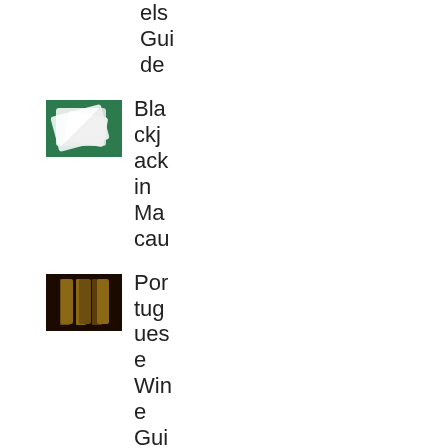els Guide
[Figure (photo): Blackjack cards on green felt table]
Blackjack in Macau
[Figure (photo): Dark shelves with wine bottles]
Portuguese Wine Guide
[Figure (photo): Colorful nightlife scene in Macau]
Macau Nig...